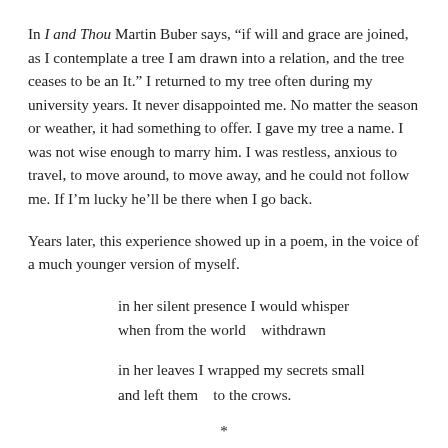In I and Thou Martin Buber says, “if will and grace are joined, as I contemplate a tree I am drawn into a relation, and the tree ceases to be an It.” I returned to my tree often during my university years. It never disappointed me. No matter the season or weather, it had something to offer. I gave my tree a name. I was not wise enough to marry him. I was restless, anxious to travel, to move around, to move away, and he could not follow me. If I’m lucky he’ll be there when I go back.
Years later, this experience showed up in a poem, in the voice of a much younger version of myself.
in her silent presence I would whisper
when from the world    withdrawn

in her leaves I wrapped my secrets small
and left them    to the crows.
*